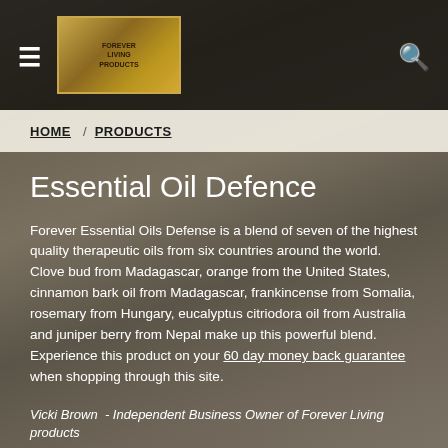HOME / PRODUCTS
Essential Oil Defence
Forever Essential Oils Defense is a blend of seven of the highest quality therapeutic oils from six countries around the world. Clove bud from Madagascar, orange from the United States, cinnamon bark oil from Madagascar, frankincense from Somalia, rosemary from Hungary, eucalyptus citriodora oil from Australia and juniper berry from Nepal make up this powerful blend. Experience this product on your 60 day money back guarantee when shopping through this site.
Vicki Brown - Independent Business Owner of Forever Living products